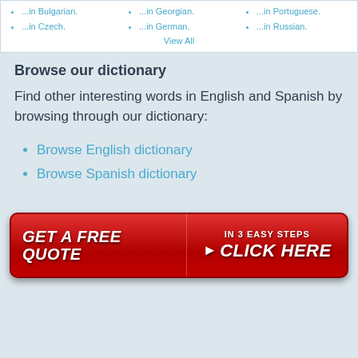...in Bulgarian.
...in Georgian.
...in Portuguese.
...in Czech.
...in German.
...in Russian.
View All
Browse our dictionary
Find other interesting words in English and Spanish by browsing through our dictionary:
Browse English dictionary
Browse Spanish dictionary
[Figure (infographic): Red call-to-action button with text 'GET A FREE QUOTE' on the left and 'IN 3 EASY STEPS ▶ CLICK HERE' on the right]